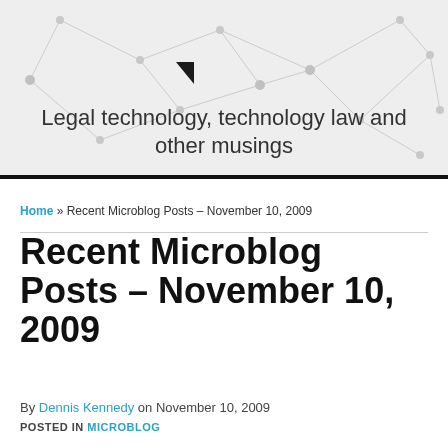[Figure (illustration): Website header background with light grey network/mesh pattern of connected dots and lines]
Legal technology, technology law and other musings
Home » Recent Microblog Posts – November 10, 2009
Recent Microblog Posts – November 10, 2009
By Dennis Kennedy on November 10, 2009
POSTED IN MICROBLOG